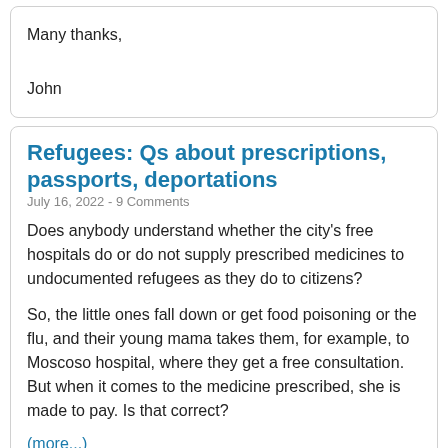Many thanks,

John
Refugees: Qs about prescriptions, passports, deportations
July 16, 2022 - 9 Comments
Does anybody understand whether the city's free hospitals do or do not supply prescribed medicines to undocumented refugees as they do to citizens?
So, the little ones fall down or get food poisoning or the flu, and their young mama takes them, for example, to Moscoso hospital, where they get a free consultation. But when it comes to the medicine prescribed, she is made to pay. Is that correct?
(more...)
School recommendations for 8th grade
July 16, 2022 - 5 Comments